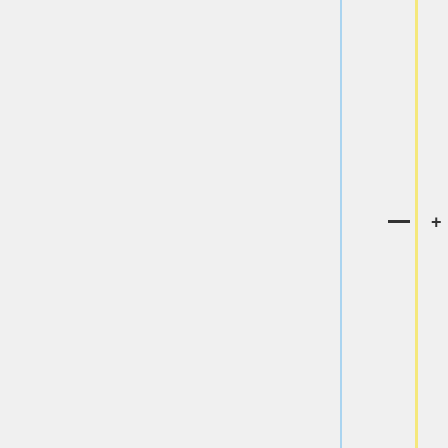surrounded on all available sides by stations which are all completely full (3 rings) of other players' rings, the player may "teleport" their base post to any completely empty (no rings) station on the board (losing any rings that may have occupied their base post station before teleporting). This is only an